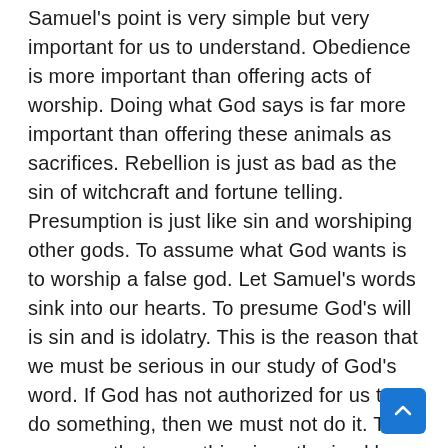Samuel's point is very simple but very important for us to understand. Obedience is more important than offering acts of worship. Doing what God says is far more important than offering these animals as sacrifices. Rebellion is just as bad as the sin of witchcraft and fortune telling. Presumption is just like sin and worshiping other gods. To assume what God wants is to worship a false god. Let Samuel's words sink into our hearts. To presume God's will is sin and is idolatry. This is the reason that we must be serious in our study of God's word. If God has not authorized for us to do something, then we must not do it. To presume that something is authorized by God is the same was idolatry. In fact, what we are doing is rejecting the word of the Lord. If we are not going to go by exactly what God has told us to do, then we are rejecting the word of the Lord.